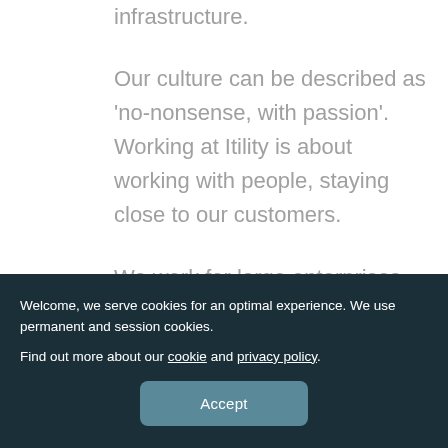infrastructure.
Our culture can be described as 'no-nonsense, with passion'. Working at Itility is about working with people, staying close to our customers.
We work for large enterprises and innovative startups. Acting as the 'digital twin' of customers, we work shoulder-to-shoulder to exceed business goals and push the boundaries of what you thought was
Welcome, we serve cookies for an optimal experience. We use permanent and session cookies.
Find out more about our cookie and privacy policy.
Accept